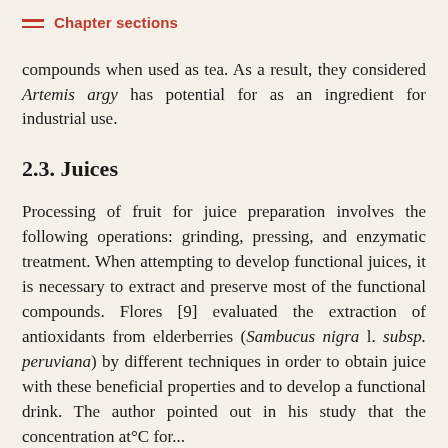Chapter sections
compounds when used as tea. As a result, they considered Artemis argy has potential for as an ingredient for industrial use.
2.3. Juices
Processing of fruit for juice preparation involves the following operations: grinding, pressing, and enzymatic treatment. When attempting to develop functional juices, it is necessary to extract and preserve most of the functional compounds. Flores [9] evaluated the extraction of antioxidants from elderberries (Sambucus nigra l. subsp. peruviana) by different techniques in order to obtain juice with these beneficial properties and to develop a functional drink. The author pointed out in his study that the preparation at...